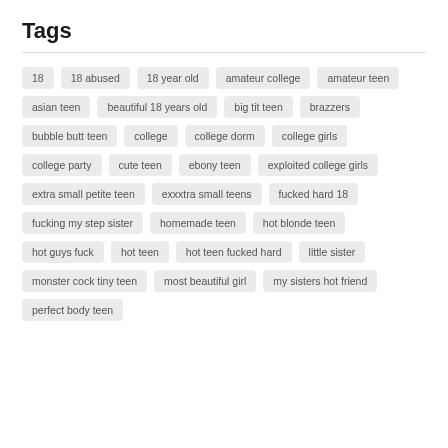Tags
18
18 abused
18 year old
amateur college
amateur teen
asian teen
beautiful 18 years old
big tit teen
brazzers
bubble butt teen
college
college dorm
college girls
college party
cute teen
ebony teen
exploited college girls
extra small petite teen
exxxtra small teens
fucked hard 18
fucking my step sister
homemade teen
hot blonde teen
hot guys fuck
hot teen
hot teen fucked hard
little sister
monster cock tiny teen
most beautiful girl
my sisters hot friend
perfect body teen